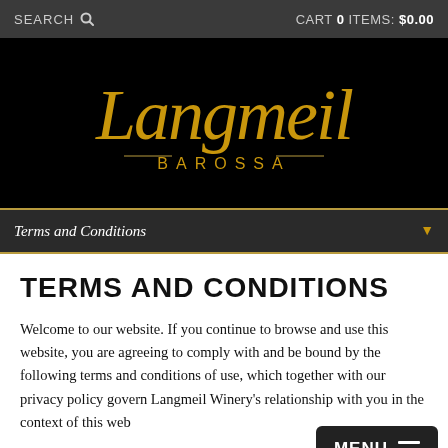SEARCH  |  CART 0 ITEMS: $0.00
[Figure (logo): Langmeil Barossa winery logo in gold script on black background]
Terms and Conditions
TERMS AND CONDITIONS
Welcome to our website. If you continue to browse and use this website, you are agreeing to comply with and be bound by the following terms and conditions of use, which together with our privacy policy govern Langmeil Winery's relationship with you in the context of this web...